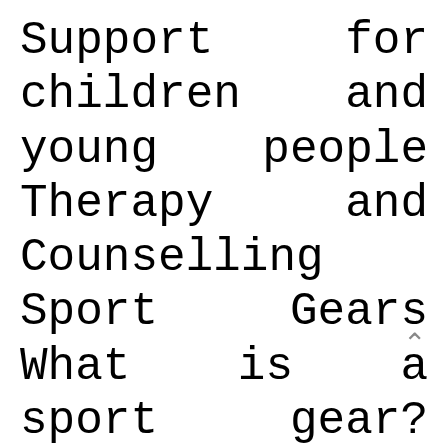Support for children and young people Therapy and Counselling Sport Gears What is a sport gear?What are the equipment used in sports? What sport has the most gear? How do you describe a sport?
Zeno was arrested for assault, and the Los Angeles Sheriff's Department mentioned he was accused of